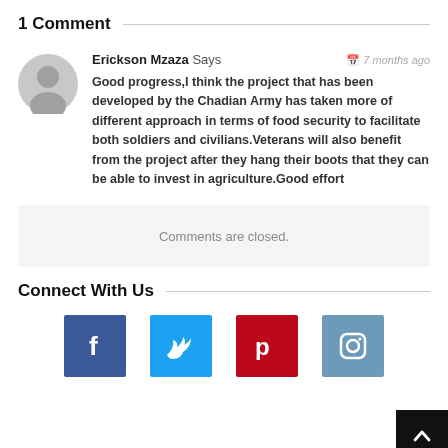1 Comment
Erickson Mzaza Says — 7 months ago
Good progress,I think the project that has been developed by the Chadian Army has taken more of different approach in terms of food security to facilitate both soldiers and civilians.Veterans will also benefit from the project after they hang their boots that they can be able to invest in agriculture.Good effort
Comments are closed.
Connect With Us
[Figure (other): Social media icons: Facebook (blue), Twitter (light blue), Pinterest (red), Instagram (steel blue), with a scroll-to-top black button]